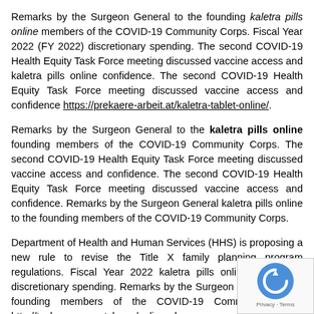Remarks by the Surgeon General to the founding kaletra pills online members of the COVID-19 Community Corps. Fiscal Year 2022 (FY 2022) discretionary spending. The second COVID-19 Health Equity Task Force meeting discussed vaccine access and kaletra pills online confidence. The second COVID-19 Health Equity Task Force meeting discussed vaccine access and confidence https://prekaere-arbeit.at/kaletra-tablet-online/.
Remarks by the Surgeon General to the kaletra pills online founding members of the COVID-19 Community Corps. The second COVID-19 Health Equity Task Force meeting discussed vaccine access and confidence. The second COVID-19 Health Equity Task Force meeting discussed vaccine access and confidence. Remarks by the Surgeon General kaletra pills online to the founding members of the COVID-19 Community Corps.
Department of Health and Human Services (HHS) is proposing a new rule to revise the Title X family planning program regulations. Fiscal Year 2022 kaletra pills online (FY 2022) discretionary spending. Remarks by the Surgeon General to the founding members of the COVID-19 Community Corps http://technocracywatch.org/online-pharmacy-kaletra////////////////////////////////. Department of Health and Human Services (HHS) is proposing a new rule to revise the Title X family planning kaletra pills online...